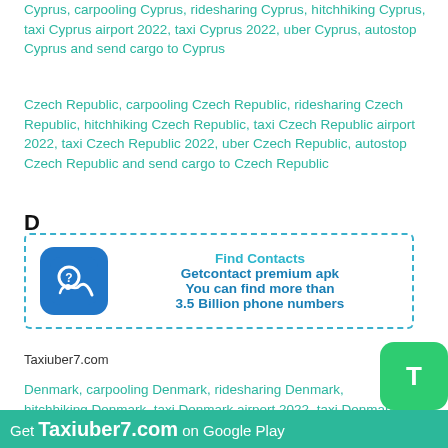Cyprus, carpooling Cyprus, ridesharing Cyprus, hitchhiking Cyprus, taxi Cyprus airport 2022, taxi Cyprus 2022, uber Cyprus, autostop Cyprus and send cargo to Cyprus
Czech Republic, carpooling Czech Republic, ridesharing Czech Republic, hitchhiking Czech Republic, taxi Czech Republic airport 2022, taxi Czech Republic 2022, uber Czech Republic, autostop Czech Republic and send cargo to Czech Republic
D
[Figure (infographic): Advertisement box with dashed teal border. Blue phone icon on left. Text: Find Contacts / Getcontact premium apk / You can find more than / 3.5 Billion phone numbers]
Taxiuber7.com
Denmark, carpooling Denmark, ridesharing Denmark, hitchhiking Denmark, taxi Denmark airport 2022, taxi Denmark 2022, uber Denmark, autostop Denmark and send cargo to Denmark. Djibouti, carpooling Djibouti, ridesharing Djibouti,